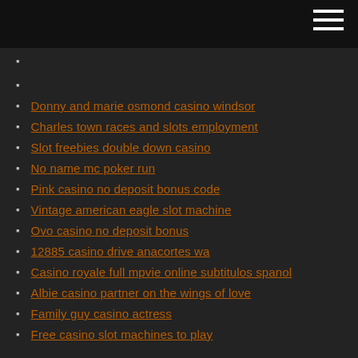Donny and marie osmond casino windsor
Charles town races and slots employment
Slot freebies double down casino
No name mc poker run
Pink casino no deposit bonus code
Vintage american eagle slot machine
Ovo casino no deposit bonus
12885 casino drive anacortes wa
Casino royale full mpvie online subtitulos spanol
Albie casino partner on the wings of love
Family guy casino actress
Free casino slot machines to play